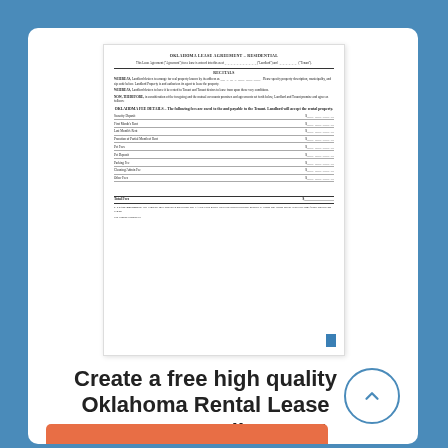[Figure (illustration): Thumbnail preview of an Oklahoma Lease Agreement – Residential legal document, showing title, recitals, WHEREAS clauses, NOW THEREFORE clause, and a fees table with rows for Security Deposit, First Month's Rent, Last Month's Rent, Prorated Rent, Pet Fees, Pet Deposit, Parking Fee, Cleaning/Admin Fee, Other Fees, and Total Fees.]
Create a free high quality Oklahoma Rental Lease Agreement online now!